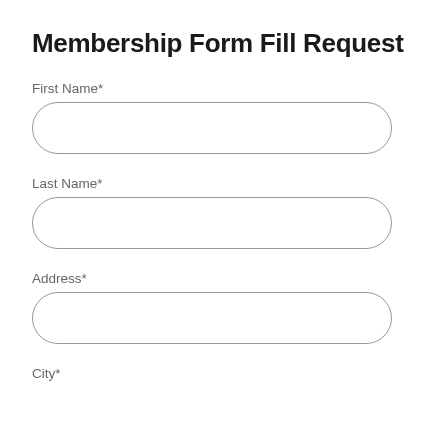Membership Form Fill Request
First Name*
Last Name*
Address*
City*